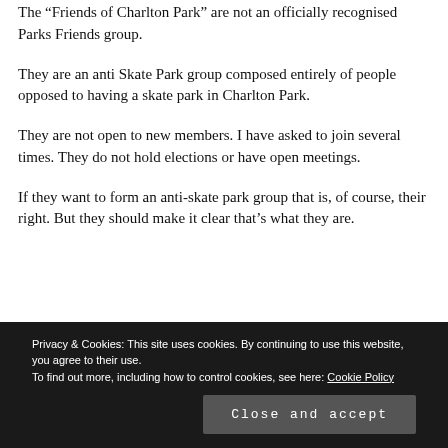The "Friends of Charlton Park" are not an officially recognised Parks Friends group.
They are an anti Skate Park group composed entirely of people opposed to having a skate park in Charlton Park.
They are not open to new members. I have asked to join several times. They do not hold elections or have open meetings.
If they want to form an anti-skate park group that is, of course, their right. But they should make it clear that’s what they are.
Privacy & Cookies: This site uses cookies. By continuing to use this website, you agree to their use.
To find out more, including how to control cookies, see here: Cookie Policy
Close and accept